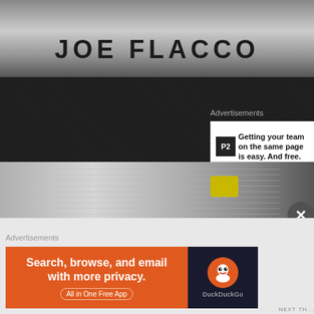[Figure (photo): Top portion of a Joe Flacco sports trading card with large text reading JOE FLACCO]
Advertisements
[Figure (other): P2 advertisement banner: Getting your team on the same page is easy. And free.]
REPORT TH...
Photography – 4 of 5
As i was saying…the unedited photos on the back are great!  The photos are focused on the player which i truly do enjoy.  One interesting shot is the Jack sharp it is.  The Mean Joe Green card from the Leaf Signatures wasn't nearly wonder why?  The photos were probably taken from around the same time… photos.  Panini managed to get to the knees for most of the players…but still Ryan would feel about that?
[Figure (photo): Bottom portion of a sports trading card showing partial athlete image with yellow element and grid pattern]
Advertisements
[Figure (other): DuckDuckGo advertisement: Search, browse, and email with more privacy. All in One Free App]